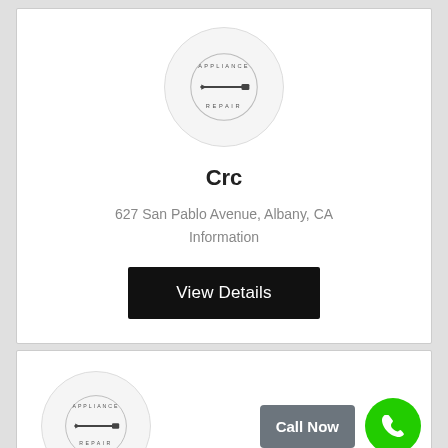[Figure (logo): Appliance Repair logo: circular badge with screwdriver and text APPLIANCE REPAIR]
Crc
627 San Pablo Avenue, Albany, CA
Information
View Details
[Figure (logo): Appliance Repair logo: circular badge with screwdriver and text APPLIANCE REPAIR]
Call Now